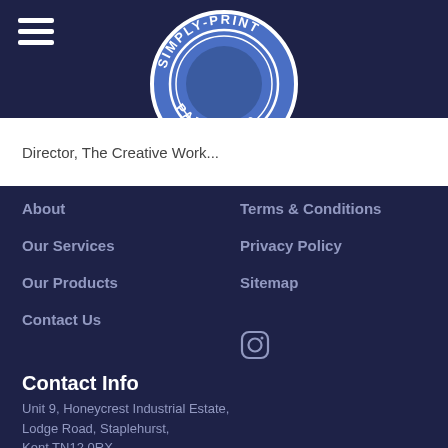[Figure (logo): Simply-Print Partners circular logo with blue circle, white text around the border reading SIMPLY-PRINT PARTNERS]
Director, The Creative Work...
About
Our Services
Our Products
Contact Us
Terms & Conditions
Privacy Policy
Sitemap
[Figure (other): Instagram icon (circle with camera outline)]
Contact Info
Unit 9, Honeycrest Industrial Estate, Lodge Road, Staplehurst, Kent TN12 0RX
01580 854139
enquires@simplyprintpartners.com